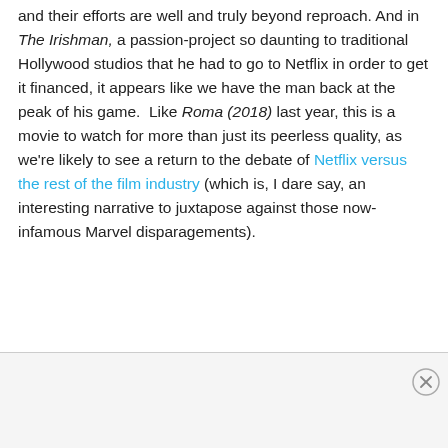and their efforts are well and truly beyond reproach. And in The Irishman, a passion-project so daunting to traditional Hollywood studios that he had to go to Netflix in order to get it financed, it appears like we have the man back at the peak of his game.  Like Roma (2018) last year, this is a movie to watch for more than just its peerless quality, as we're likely to see a return to the debate of Netflix versus the rest of the film industry (which is, I dare say, an interesting narrative to juxtapose against those now-infamous Marvel disparagements).